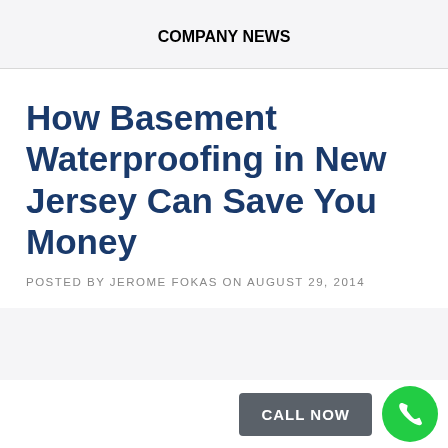COMPANY NEWS
How Basement Waterproofing in New Jersey Can Save You Money
POSTED BY JEROME FOKAS ON AUGUST 29, 2014
[Figure (other): CALL NOW button with green phone icon circle]